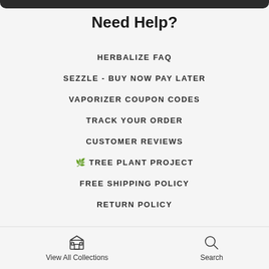Need Help?
HERBALIZE FAQ
SEZZLE - BUY NOW PAY LATER
VAPORIZER COUPON CODES
TRACK YOUR ORDER
CUSTOMER REVIEWS
🌱 TREE PLANT PROJECT
FREE SHIPPING POLICY
RETURN POLICY
View All Collections   Search